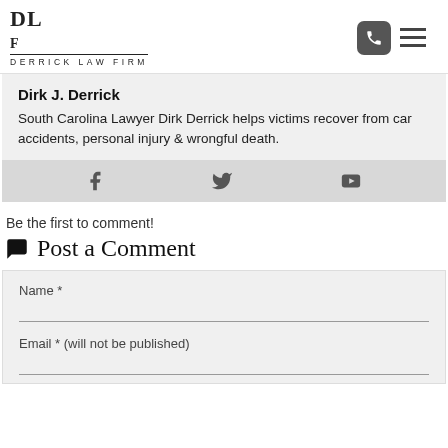DERRICK LAW FIRM
Dirk J. Derrick
South Carolina Lawyer Dirk Derrick helps victims recover from car accidents, personal injury & wrongful death.
[Figure (infographic): Social media icons: Facebook, Twitter, YouTube]
Be the first to comment!
Post a Comment
Name *
Email * (will not be published)